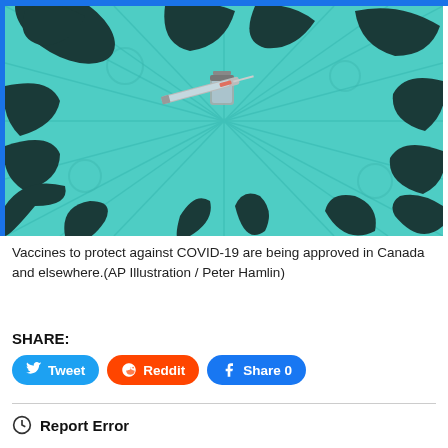[Figure (illustration): Illustration of multiple dark silhouetted hands reaching in from all sides toward a vaccine vial and syringe in the center, on a teal/turquoise starburst background with faint virus particle shapes.]
Vaccines to protect against COVID-19 are being approved in Canada and elsewhere.(AP Illustration / Peter Hamlin)
SHARE:
Tweet   Reddit   Share 0
Report Error